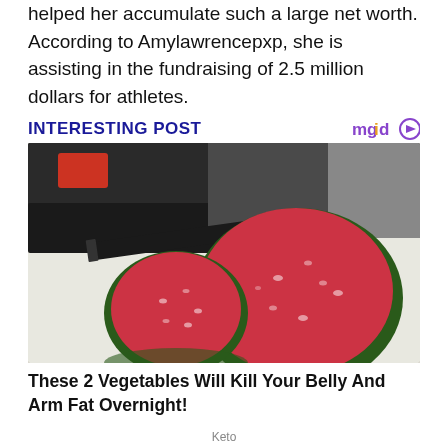helped her accumulate such a large net worth. According to Amylawrencepxp, she is assisting in the fundraising of 2.5 million dollars for athletes.
INTERESTING POST
[Figure (photo): Photo of sliced watermelon or similar green fruit/vegetable cut open on a white cutting board, showing red interior with a knife nearby]
These 2 Vegetables Will Kill Your Belly And Arm Fat Overnight!
Keto